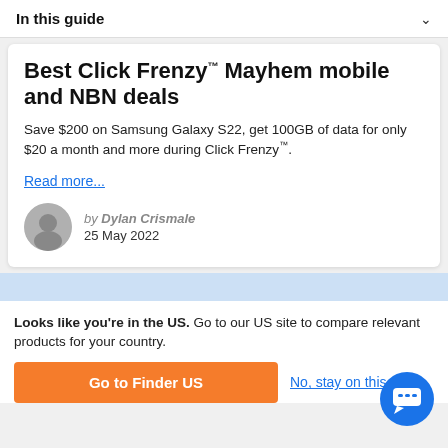In this guide
Best Click Frenzy™ Mayhem mobile and NBN deals
Save $200 on Samsung Galaxy S22, get 100GB of data for only $20 a month and more during Click Frenzy™.
Read more...
by Dylan Crismale
25 May 2022
Looks like you're in the US. Go to our US site to compare relevant products for your country.
Go to Finder US
No, stay on this page